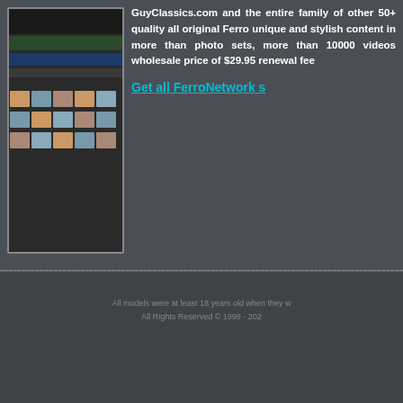[Figure (screenshot): Screenshot of a website showing a grid of thumbnail images for FerroNetwork content]
GuyClassics.com and the entire family of other 50+ quality all original Ferro unique and stylish content in more than photo sets, more than 10000 videos wholesale price of $29.95 renewal fee
Get all FerroNetwork s
All models were at least 18 years old when they w
All Rights Reserved © 1999 - 202
[Figure (logo): FERRO NETWORK logo in white text on dark rounded rectangle background]